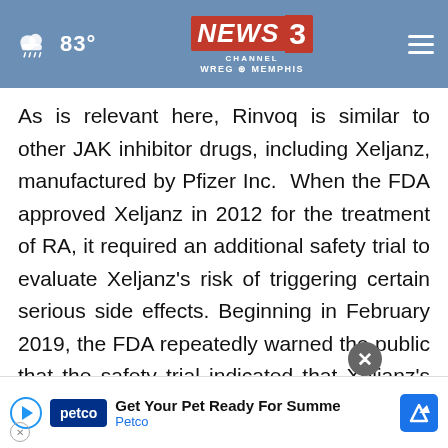NEWS 3 CHANNEL WREG MEMPHIS — 83°
As is relevant here, Rinvoq is similar to other JAK inhibitor drugs, including Xeljanz, manufactured by Pfizer Inc.  When the FDA approved Xeljanz in 2012 for the treatment of RA, it required an additional safety trial to evaluate Xeljanz's risk of triggering certain serious side effects.  Beginning in February 2019, the FDA repeatedly warned the public that the safety trial indicated that Xeljanz's use could lead to serious heart-related issues, cancer, and other adverse events. No[obscured by ad]ween
[Figure (screenshot): Petco advertisement banner: 'Get Your Pet Ready For Summe' / 'Petco' with Petco logo and navigation icon, overlaid with close button]